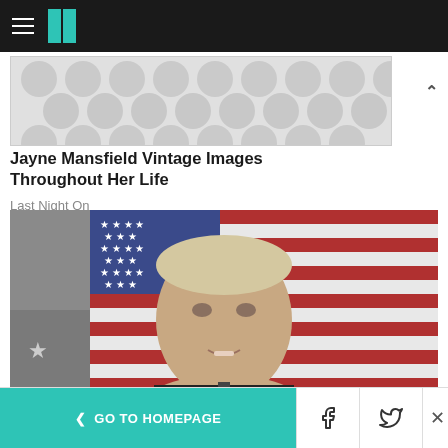HuffPost navigation header with hamburger menu and logo
[Figure (other): Advertisement banner with gray polka dot / bubble pattern background]
Jayne Mansfield Vintage Images Throughout Her Life
Last Night On
[Figure (photo): Portrait photo of a middle-aged white man with short blond/gray hair speaking in front of an American flag]
House Candidate Vows To Send FBI
< GO TO HOMEPAGE | Facebook share | Twitter share | Close